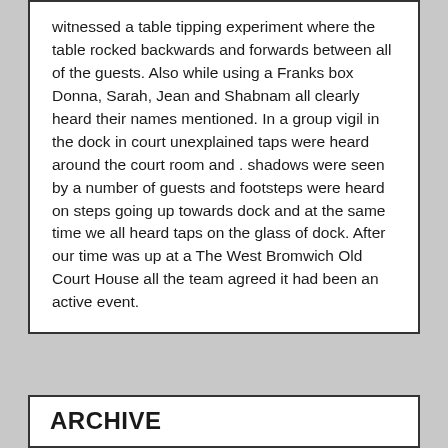witnessed a table tipping experiment where the table rocked backwards and forwards between all of the guests. Also while using a Franks box Donna, Sarah, Jean and Shabnam all clearly heard their names mentioned. In a group vigil in the dock in court unexplained taps were heard around the court room and . shadows were seen by a number of guests and footsteps were heard on steps going up towards dock and at the same time we all heard taps on the glass of dock. After our time was up at a The West Bromwich Old Court House all the team agreed it had been an active event.
ARCHIVE